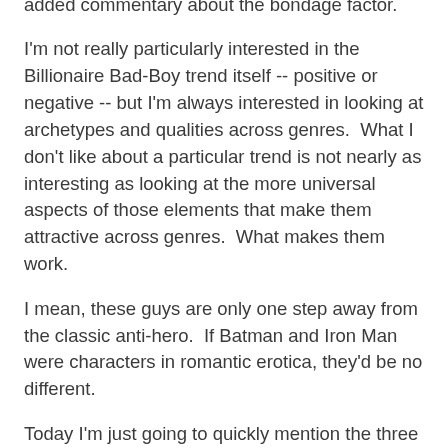three major qualities she saw in such anti-heroes: wealth, inner torment and jackassery -- with an added commentary about the bondage factor.
I'm not really particularly interested in the Billionaire Bad-Boy trend itself -- positive or negative -- but I'm always interested in looking at archetypes and qualities across genres.  What I don't like about a particular trend is not nearly as interesting as looking at the more universal aspects of those elements that make them attractive across genres.  What makes them work.
I mean, these guys are only one step away from the classic anti-hero.  If Batman and Iron Man were characters in romantic erotica, they'd be no different.
Today I'm just going to quickly mention the three qualities I see:
Wealth and Privilege
While billionaires of limitless, almost Super-Villain-like levels